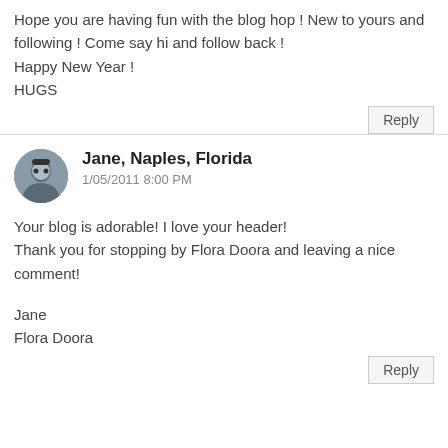Hope you are having fun with the blog hop ! New to yours and following ! Come say hi and follow back !
Happy New Year !
HUGS
Reply
Jane, Naples, Florida
1/05/2011 8:00 PM
Your blog is adorable! I love your header!
Thank you for stopping by Flora Doora and leaving a nice comment!

Jane
Flora Doora
Reply